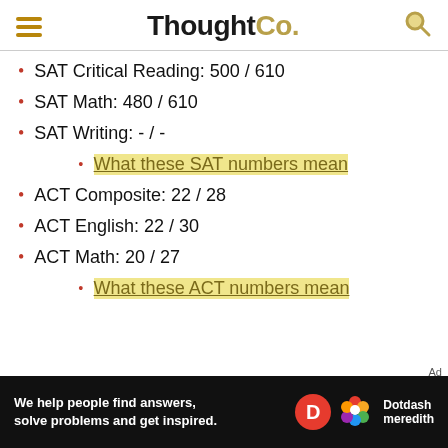ThoughtCo.
SAT Critical Reading: 500 / 610
SAT Math: 480 / 610
SAT Writing: - / -
What these SAT numbers mean
ACT Composite: 22 / 28
ACT English: 22 / 30
ACT Math: 20 / 27
What these ACT numbers mean
Ad
We help people find answers, solve problems and get inspired. Dotdash meredith